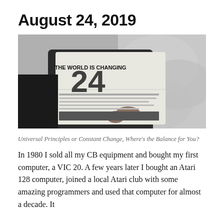August 24, 2019
[Figure (photo): Black and white photo of a person in a dark jacket holding up a newspaper with the headline 'THE WORLD IS CHANGING' and large numbers visible on the front page.]
Universal Principles or Constant Change, Where's the Balance for You?
In 1980 I sold all my CB equipment and bought my first computer, a VIC 20. A few years later I bought an Atari 128 computer, joined a local Atari club with some amazing programmers and used that computer for almost a decade. It